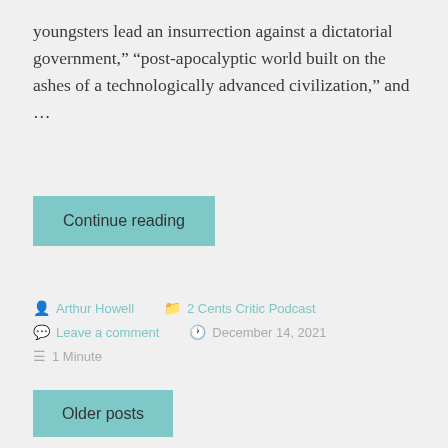youngsters lead an insurrection against a dictatorial government,” “post-apocalyptic world built on the ashes of a technologically advanced civilization,” and …
Continue reading
Arthur Howell
2 Cents Critic Podcast
Leave a comment
December 14, 2021
1 Minute
Older posts